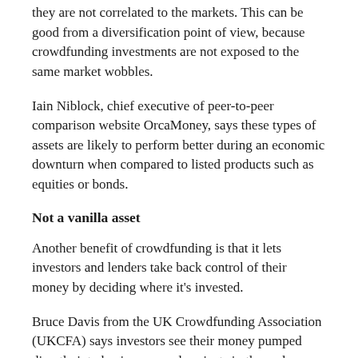they are not correlated to the markets. This can be good from a diversification point of view, because crowdfunding investments are not exposed to the same market wobbles.
Iain Niblock, chief executive of peer-to-peer comparison website OrcaMoney, says these types of assets are likely to perform better during an economic downturn when compared to listed products such as equities or bonds.
Not a vanilla asset
Another benefit of crowdfunding is that it lets investors and lenders take back control of their money by deciding where it's invested.
Bruce Davis from the UK Crowdfunding Association (UKCFA) says investors see their money pumped directly into businesses and projects in the real economy. “The democratisation of investment allows smaller investors to properly diversify their holdings away from one-size-fits-